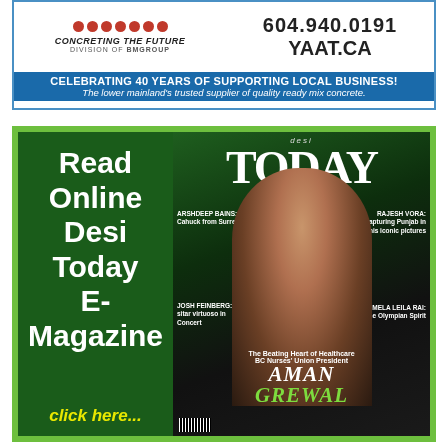[Figure (infographic): Top advertisement for a concrete company. Shows logo with red dots, company name 'CONCRETING THE FUTURE DIVISION OF BMGROUP', phone 604.940.0191, website YAAT.CA. Blue banner: 'CELEBRATING 40 YEARS OF SUPPORTING LOCAL BUSINESS! The lower mainland's trusted supplier of quality ready mix concrete.']
[Figure (infographic): Advertisement for Desi Today E-Magazine on green background. Left dark green panel with white text 'Read Online Desi Today E-Magazine' and yellow 'click here...'. Right panel shows magazine cover with 'desi TODAY' masthead, woman on cover (Aman Grewal, BC Nurses Union President), article teasers: Arshdeep Bains, Rajesh Vora, Josh Feinberg, Pamela Leila Rai.]